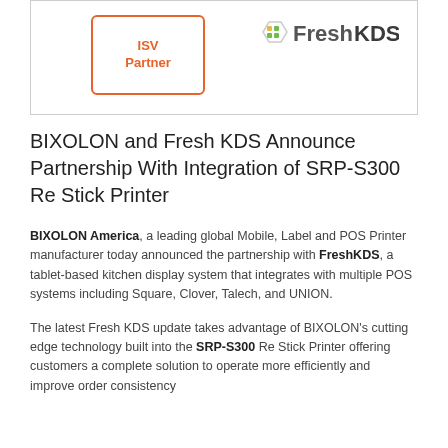[Figure (logo): ISV Partner badge (orange border, orange bold text) and FreshKDS logo side by side in a bordered box]
BIXOLON and Fresh KDS Announce Partnership With Integration of SRP-S300 Re Stick Printer
BIXOLON America, a leading global Mobile, Label and POS Printer manufacturer today announced the partnership with FreshKDS, a tablet-based kitchen display system that integrates with multiple POS systems including Square, Clover, Talech, and UNION.
The latest Fresh KDS update takes advantage of BIXOLON's cutting edge technology built into the SRP-S300 Re Stick Printer offering customers a complete solution to operate more efficiently and improve order consistency